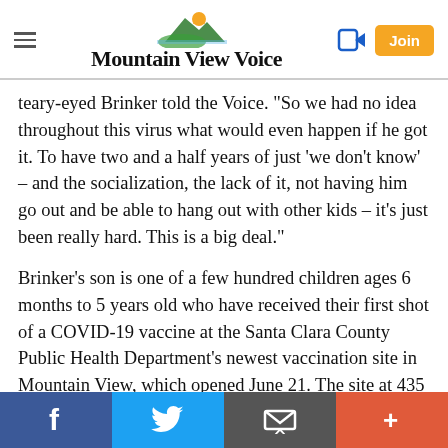Mountain View Voice
teary-eyed Brinker told the Voice. "So we had no idea throughout this virus what would even happen if he got it. To have two and a half years of just 'we don't know' – and the socialization, the lack of it, not having him go out and be able to hang out with other kids – it's just been really hard. This is a big deal."
Brinker's son is one of a few hundred children ages 6 months to 5 years old who have received their first shot of a COVID-19 vaccine at the Santa Clara County Public Health Department's newest vaccination site in Mountain View, which opened June 21. The site at 435 San Antonio Road is currently open by appointment. Anyone 6 months or
f  Twitter  Email  +